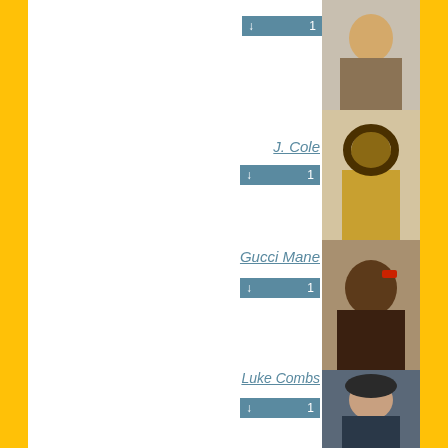[Figure (photo): Photo of an artist at top, partially visible]
Download button with count 1
J. Cole
[Figure (photo): Photo of J. Cole rapper]
Download button with count 1
Gucci Mane
[Figure (photo): Photo of Gucci Mane rapper]
Download button with count 1
Luke Combs
[Figure (photo): Photo of Luke Combs country singer]
Download button with count 1
Machine Gun Kelly
[Figure (photo): Photo of Machine Gun Kelly rapper]
Download button with count 1